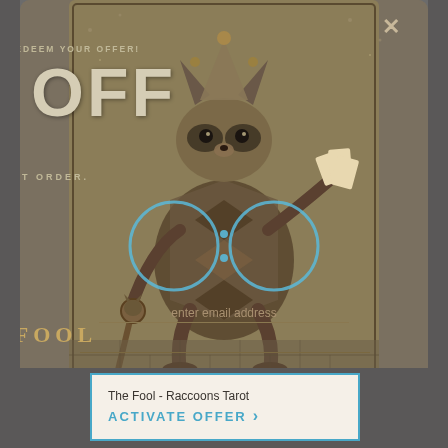[Figure (screenshot): A promotional popup overlay showing a tarot card themed discount offer. Features a raccoon jester illustration on a dark golden-brown card background. Large text reads '15% OFF YOUR NEXT ORDER' with a countdown timer showing two circular rings separated by a colon. Below is an email input field placeholder and 'THE FOOL' tarot card label. A close (X) button is in the top right.]
LAST CHANCE TO REDEEM YOUR OFFER!
15% OFF
YOUR NEXT ORDER.
enter email address
THE FOOL
The Fool - Raccoons Tarot
ACTIVATE OFFER
XVIII